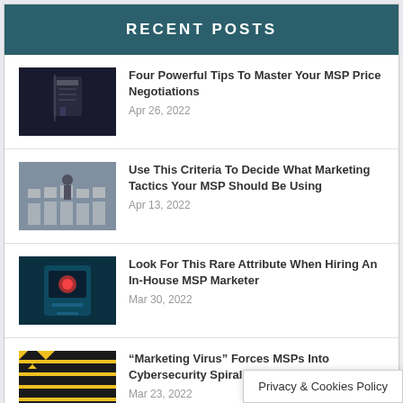RECENT POSTS
Four Powerful Tips To Master Your MSP Price Negotiations
Apr 26, 2022
Use This Criteria To Decide What Marketing Tactics Your MSP Should Be Using
Apr 13, 2022
Look For This Rare Attribute When Hiring An In-House MSP Marketer
Mar 30, 2022
“Marketing Virus” Forces MSPs Into Cybersecurity Spiral
Mar 23, 2022
Privacy & Cookies Policy